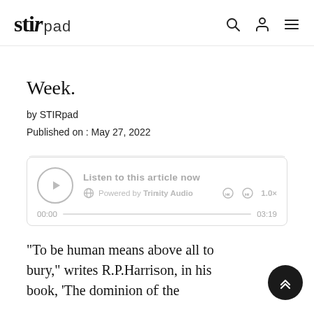stir pad
Week.
by STIRpad
Published on : May 27, 2022
[Figure (other): Audio player widget: 'Listen to this article now', Powered by Trinity Audio, 00:00 / 03:19]
“To be human means above all to bury,” writes R.P.Harrison, in his book, ‘The dominion of the